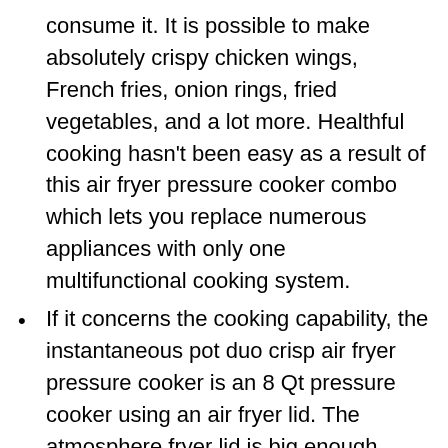consume it. It is possible to make absolutely crispy chicken wings, French fries, onion rings, fried vegetables, and a lot more. Healthful cooking hasn't been easy as a result of this air fryer pressure cooker combo which lets you replace numerous appliances with only one multifunctional cooking system.
If it concerns the cooking capability, the instantaneous pot duo crisp air fryer pressure cooker is an 8 Qt pressure cooker using an air fryer lid. The atmosphere fryer lid is big enough which you may count as another appliance. The Duo Crisp is a 22-pound kitchen appliance that's fairly hefty. Since the